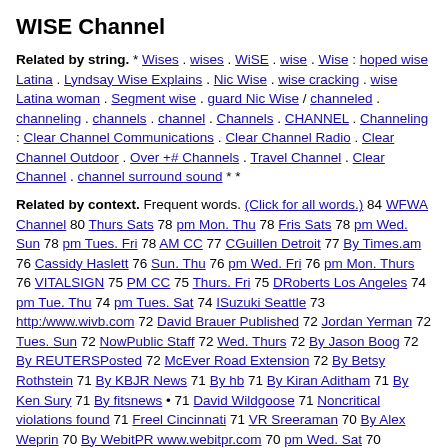WISE Channel
Related by string. * Wises . wises . WiSE . wise . Wise : hoped wise Latina . Lyndsay Wise Explains . Nic Wise . wise cracking . wise Latina woman . Segment wise . guard Nic Wise / channeled . channeling . channels . channel . Channels . CHANNEL . Channeling : Clear Channel Communications . Clear Channel Radio . Clear Channel Outdoor . Over +# Channels . Travel Channel . Clear Channel . channel surround sound * *
Related by context. Frequent words. (Click for all words.) 84 WFWA Channel 80 Thurs Sats 78 pm Mon. Thu 78 Fris Sats 78 pm Wed. Sun 78 pm Tues. Fri 78 AM CC 77 CGuillen Detroit 77 By Times.am 76 Cassidy Haslett 76 Sun. Thu 76 pm Wed. Fri 76 pm Mon. Thurs 76 VITALSIGN 75 PM CC 75 Thurs. Fri 75 DRoberts Los Angeles 74 pm Tue. Thu 74 pm Tues. Sat 74 ISuzuki Seattle 73 http:/www.wivb.com 72 David Brauer Published 72 Jordan Yerman 72 Tues. Sun 72 NowPublic Staff 72 Wed. Thurs 72 By Jason Boog 72 By REUTERSPosted 72 McEver Road Extension 72 By Betsy Rothstein 71 By KBJR News 71 By hb 71 By Kiran Aditham 71 By Ken Sury 71 By fitsnews • 71 David Wildgoose 71 Noncritical violations found 71 Freel Cincinnati 71 VR Sreeraman 70 By Alex Weprin 70 By WebitPR www.webitpr.com 70 pm Wed. Sat 70 THunter Minnesota 70 By